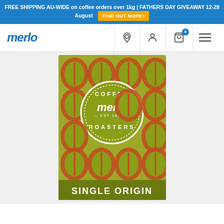FREE SHIPPING AU-WIDE on coffee orders over 1kg | FATHERS DAY GIVEAWAY 12-28 August  FIND OUT MORE!
[Figure (logo): Merlo Coffee website navigation bar with logo, location, account, cart (0), and menu icons]
[Figure (photo): Merlo Coffee Single Origin product packaging — olive green bag with repeating coffee bean pattern in brown/rust tones, circular Merlo Coffee Roasters EST 1992 logo in center, dark olive band at bottom reading SINGLE ORIGIN in white bold text]